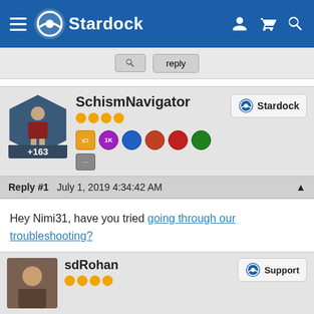Stardock
SchismNavigator
+163
Reply #1   July 1, 2019 4:34:42 AM
Hey Nimi31, have you tried going through our troubleshooting?

You might want to also check your firewall to make sure it is not blocking Sins.
sdRohan
Support